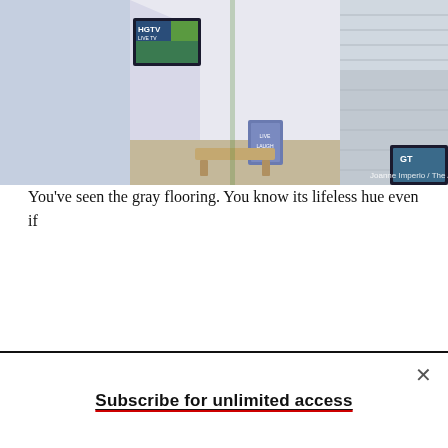[Figure (illustration): 3D isometric illustration of a modern room/home interior with HGTV branding, showing a TV screen with HGTV Live TV, a 'Live Laugh Love' sign on the wall, a wooden bench, white walls, and green grass exterior. Credit: Joanne Imperio / The Atlantic]
The HGTV-ification of America
Amanda Mull
You can't escape gray floors.
You've seen the gray flooring. You know its lifeless hue even if
Subscribe for unlimited access